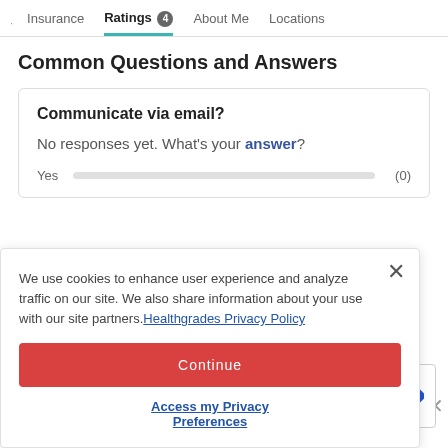· Insurance  Ratings 4  About Me  Locations
Common Questions and Answers
Communicate via email?
No responses yet. What's your answer?
Yes  (0)
We use cookies to enhance user experience and analyze traffic on our site. We also share information about your use with our site partners. Healthgrades Privacy Policy
Continue
Access my Privacy Preferences